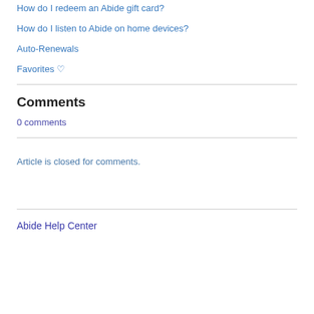How do I redeem an Abide gift card?
How do I listen to Abide on home devices?
Auto-Renewals
Favorites ♡
Comments
0 comments
Article is closed for comments.
Abide Help Center